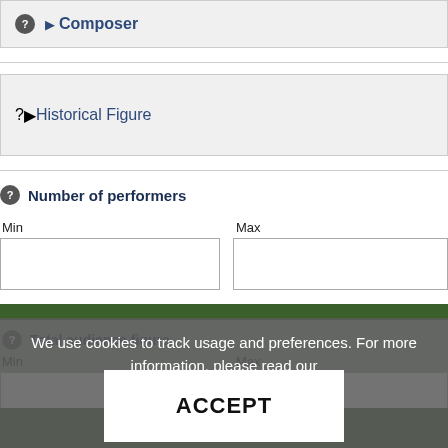▶ Composer
▶ Historical Figure
Number of performers
Min
Max
Update search
Total audience figure
Min
Max
We use cookies to track usage and preferences. For more information, please read our Privacy & Cookie Policy.
ACCEPT
Update search